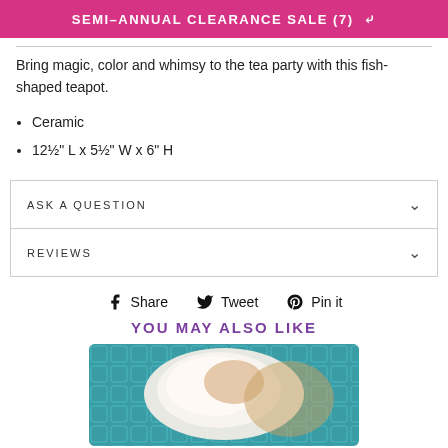SEMI-ANNUAL CLEARANCE SALE (7)
Bring magic, color and whimsy to the tea party with this fish-shaped teapot.
Ceramic
12½" L x 5½" W x 6" H
ASK A QUESTION
REVIEWS
Share  Tweet  Pin it
YOU MAY ALSO LIKE
[Figure (photo): Product photo of a white fluffy item on a teal/blue background]